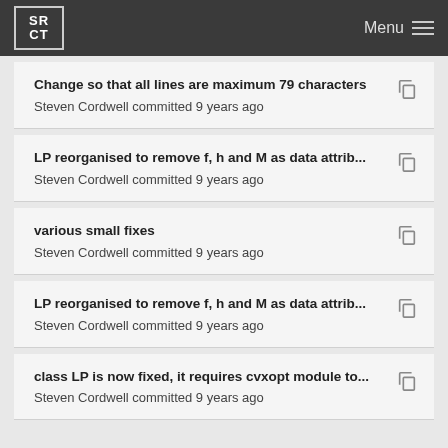SRCT Menu
Change so that all lines are maximum 79 characters
Steven Cordwell committed 9 years ago
LP reorganised to remove f, h and M as data attrib...
Steven Cordwell committed 9 years ago
various small fixes
Steven Cordwell committed 9 years ago
LP reorganised to remove f, h and M as data attrib...
Steven Cordwell committed 9 years ago
class LP is now fixed, it requires cvxopt module to...
Steven Cordwell committed 9 years ago